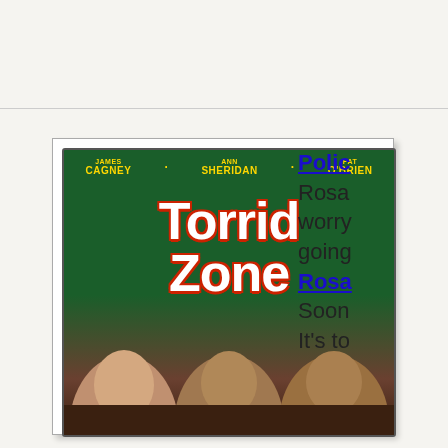[Figure (photo): DVD cover of 'Torrid Zone' (1940) featuring James Cagney, Ann Sheridan, and Pat O'Brien. The cover shows the movie title in large white letters with red outline on a green background, with the three actors' names at the top in yellow, and photos of actors at the bottom.]
Polic
Rosa worry going
Rosa
Soon It's to